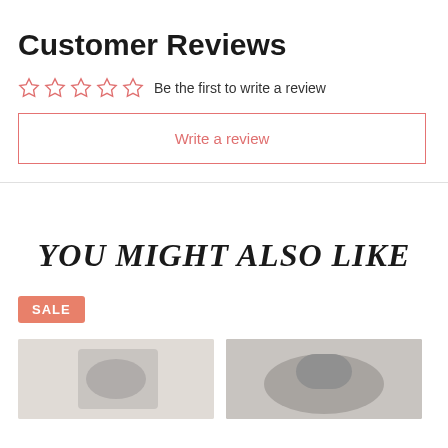Customer Reviews
Be the first to write a review
Write a review
YOU MIGHT ALSO LIKE
SALE
[Figure (photo): Two product images partially visible at the bottom of the page]